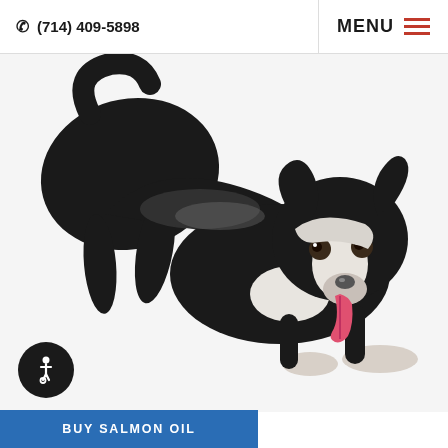(714) 409-5898  MENU
[Figure (photo): A black and white Border Collie dog in a playful bow pose on a white background, tongue out, looking at the camera.]
BUY SALMON OIL